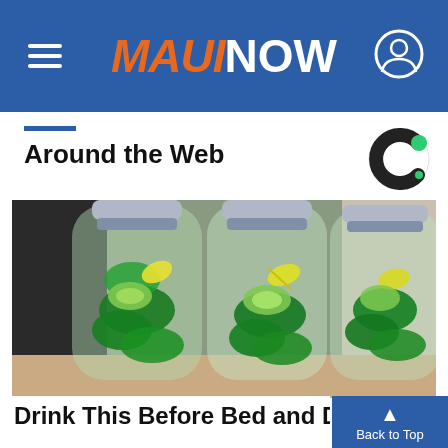MAUI NOW
Around the Web
[Figure (photo): Three clear plastic water bottles filled with green cucumber-mint-lemon infused water, sitting on a kitchen counter]
Drink This Before Bed and Drop Bod